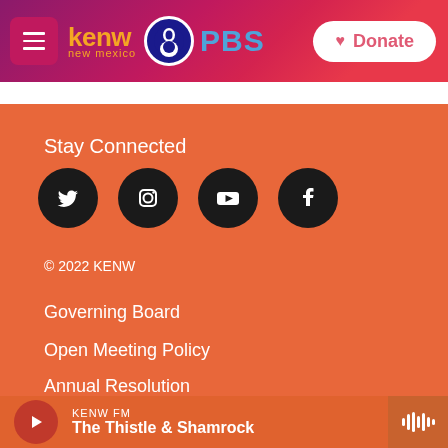[Figure (screenshot): KENW New Mexico PBS website header with navigation menu button, KENW logo, PBS logo, and Donate button on a pink/magenta gradient background]
Stay Connected
[Figure (infographic): Four social media icons: Twitter, Instagram, YouTube, Facebook — each in a black circle]
© 2022 KENW
Governing Board
Open Meeting Policy
Annual Resolution
Schedule of Meetings
KENW FM · The Thistle & Shamrock